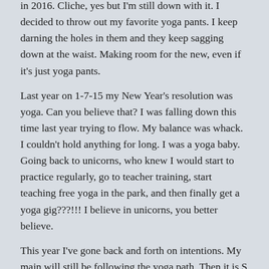in 2016. Cliche, yes but I'm still down with it. I decided to throw out my favorite yoga pants. I keep darning the holes in them and they keep sagging down at the waist. Making room for the new, even if it's just yoga pants.
Last year on 1-7-15 my New Year's resolution was yoga. Can you believe that? I was falling down this time last year trying to flow. My balance was whack. I couldn't hold anything for long. I was a yoga baby. Going back to unicorns, who knew I would start to practice regularly, go to teacher training, start teaching free yoga in the park, and then finally get a yoga gig???!!! I believe in unicorns, you better believe.
This year I've gone back and forth on intentions. My main will still be following the yoga path. Then it is S U M M E R. I do not like Summer. I get depressed like people get depressed in the Winter. It's hot and I don't like shorts. I want to eat and hide. I just get really negative. This year I want to manifest a different kind of Summer and really